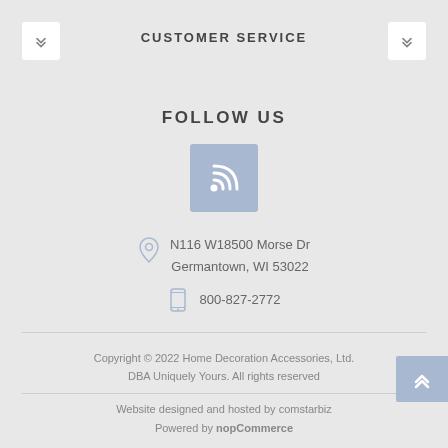CUSTOMER SERVICE
FOLLOW US
[Figure (logo): RSS feed icon in a blue square button]
N116 W18500 Morse Dr Germantown, WI 53022
800-827-2772
Copyright © 2022 Home Decoration Accessories, Ltd. DBA Uniquely Yours. All rights reserved
Website designed and hosted by comstarbiz Powered by nopCommerce